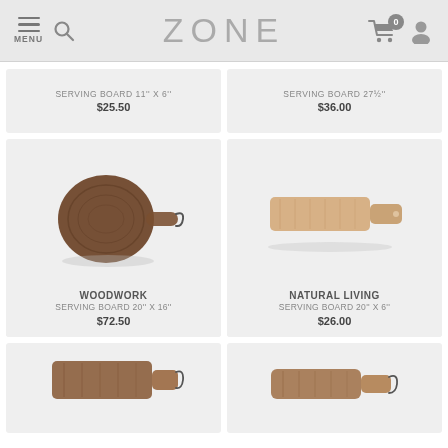MENU | ZONE | 0
[Figure (photo): Partial product card top - Serving Board 11'' x 6'']
SERVING BOARD 11'' X 6''
$25.50
[Figure (photo): Partial product card top - Serving Board 27½'']
SERVING BOARD 27½''
$36.00
[Figure (photo): Woodwork round dark wooden serving board 20'' x 16'']
WOODWORK
SERVING BOARD 20'' X 16''
$72.50
[Figure (photo): Natural Living light wood rectangular serving board 20'' x 6'']
NATURAL LIVING
SERVING BOARD 20'' X 6''
$26.00
[Figure (photo): Partial bottom product card - wooden serving board]
[Figure (photo): Partial bottom product card - wooden serving board with hook]